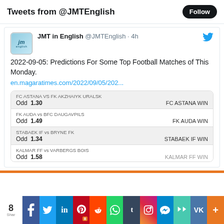Tweets from @JMTEnglish
JMT in English @JMTEnglish · 4h
2022-09-05: Predictions For Some Top Football Matches of This Monday.
en.magaratimes.com/2022/09/05/202...
| Match | Odd | Result |
| --- | --- | --- |
| FC ASTANA vs FK AKZHAIYK URALSK | Odd  1.30 | FC ASTANA WIN |
| FK AUDA vs BFC DAUGAVPILS | Odd  1.49 | FK AUDA WIN |
| STABAEK IF vs BRYNE FK | Odd  1.34 | STABAEK IF WIN |
| KALMAR FF vs VARBERGS BOIS | Odd  1.58 | KALMAR FF WIN |
POPULAR POSTS